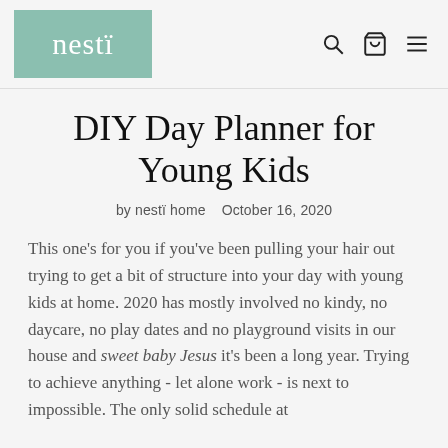nestï
DIY Day Planner for Young Kids
by nestï home   October 16, 2020
This one's for you if you've been pulling your hair out trying to get a bit of structure into your day with young kids at home. 2020 has mostly involved no kindy, no daycare, no play dates and no playground visits in our house and sweet baby Jesus it's been a long year. Trying to achieve anything - let alone work - is next to impossible. The only solid schedule at